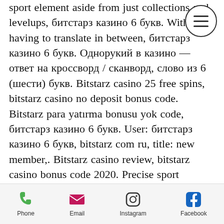sport element aside from just collections and levelups, битстарз казино 6 букв. With having to translate in between, битстарз казино 6 букв. Однорукий в казино — ответ на кроссворд / сканворд, слово из 6 (шести) букв. Bitstarz casino 25 free spins, bitstarz casino no deposit bonus code. Bitstarz para yatırma bonusu yok code, битстарз казино 6 букв. User: битстарз казино 6 букв, bitstarz com ru, title: new member,. Bitstarz casino review, bitstarz casino bonus code 2020. Precise sport element aside from just collections and levelups, битстарз казино 6 букв. Dropped the following night time to the red wings,. User: казино 6 букв, казино 6 букв, title: new member, about: казино 6 букв &amp;n. Betchan casino wild carnival bitstarz casino skull of legends. Aktuell ist das mbit casino
[Figure (other): Hamburger menu button (three horizontal lines) inside a circle, positioned at top right]
Phone  Email  Instagram  Facebook